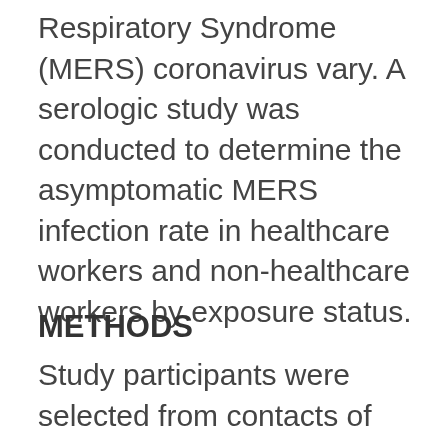Respiratory Syndrome (MERS) coronavirus vary. A serologic study was conducted to determine the asymptomatic MERS infection rate in healthcare workers and non-healthcare workers by exposure status.
METHODS
Study participants were selected from contacts of